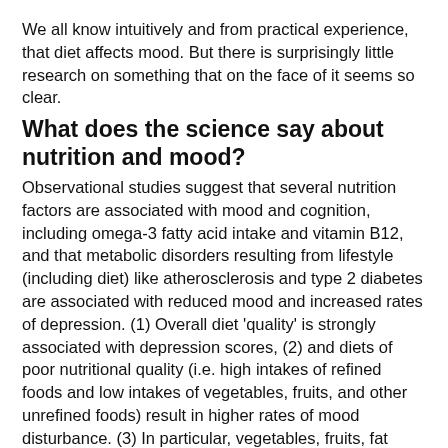We all know intuitively and from practical experience, that diet affects mood. But there is surprisingly little research on something that on the face of it seems so clear.
What does the science say about nutrition and mood?
Observational studies suggest that several nutrition factors are associated with mood and cognition, including omega-3 fatty acid intake and vitamin B12, and that metabolic disorders resulting from lifestyle (including diet) like atherosclerosis and type 2 diabetes are associated with reduced mood and increased rates of depression. (1) Overall diet 'quality' is strongly associated with depression scores, (2) and diets of poor nutritional quality (i.e. high intakes of refined foods and low intakes of vegetables, fruits, and other unrefined foods) result in higher rates of mood disturbance. (3) In particular, vegetables, fruits, fat (especially saturated fat), and dietary variety, total water, fibre, vitamin B6, vitamin C, magnesium, and selenium intake are associated with higher mood, (4) as are diets higher in potassium and magnesium (which are often a 'proxy' for unrefined diets with higher vegetable intake). (5)